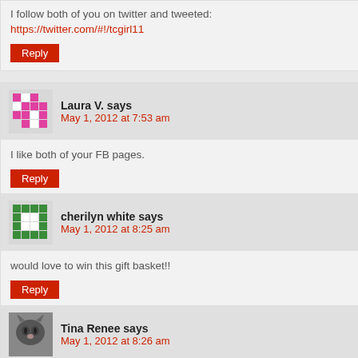I follow both of you on twitter and tweeted: https://twitter.com/#!/tcgirl11
Reply
Laura V. says
May 1, 2012 at 7:53 am
I like both of your FB pages.
Reply
cherilyn white says
May 1, 2012 at 8:25 am
would love to win this gift basket!!
Reply
Tina Renee says
May 1, 2012 at 8:26 am